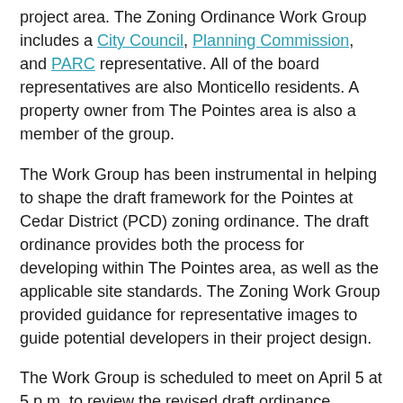project area. The Zoning Ordinance Work Group includes a City Council, Planning Commission, and PARC representative. All of the board representatives are also Monticello residents. A property owner from The Pointes area is also a member of the group.
The Work Group has been instrumental in helping to shape the draft framework for the Pointes at Cedar District (PCD) zoning ordinance. The draft ordinance provides both the process for developing within The Pointes area, as well as the applicable site standards. The Zoning Work Group provided guidance for representative images to guide potential developers in their project design.
The Work Group is scheduled to meet on April 5 at 5 p.m. to review the revised draft ordinance language. Draft ordinance language for the new zoning district will be presented